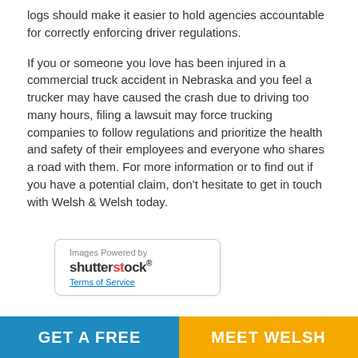logs should make it easier to hold agencies accountable for correctly enforcing driver regulations.
If you or someone you love has been injured in a commercial truck accident in Nebraska and you feel a trucker may have caused the crash due to driving too many hours, filing a lawsuit may force trucking companies to follow regulations and prioritize the health and safety of their employees and everyone who shares a road with them. For more information or to find out if you have a potential claim, don't hesitate to get in touch with Welsh & Welsh today.
[Figure (logo): Shutterstock logo badge with 'Images Powered by shutterstock Terms of Service']
GET A FREE
MEET WELSH